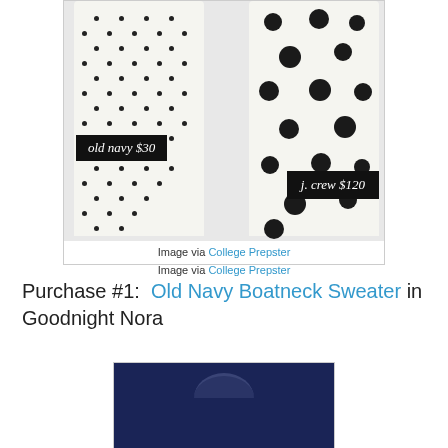[Figure (photo): Two women wearing white polka dot dresses side by side. Left dress has small polka dots with price tag 'old navy $30'. Right dress has large polka dots with price tag 'j. crew $120'.]
Image via College Prepster
Purchase #1:  Old Navy Boatneck Sweater in Goodnight Nora
[Figure (photo): Navy blue boatneck sweater product photo.]